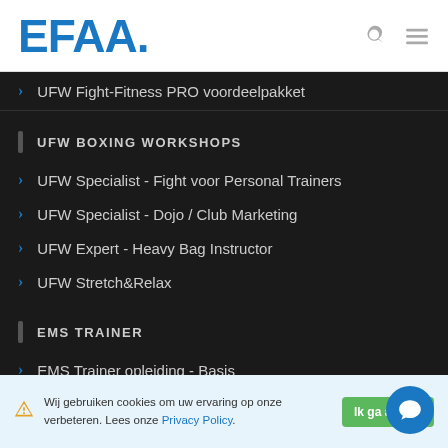EFAA.
UFW Fight-Fitness PRO voordeelpakket
UFW BOXING WORKSHOPS
UFW Specialist - Fight voor Personal Trainers
UFW Specialist - Dojo / Club Marketing
UFW Expert - Heavy Bag Instructor
UFW Stretch&Relax
EMS TRAINER
EMS Trainer opleiding - Basis
EMS Trainer opleiding - Level 1
EMS Trainer combinatie opleiding - Basis en Level 1
Wij gebruiken cookies om uw ervaring op onze site te verbeteren. Lees onze Privacy Policy.